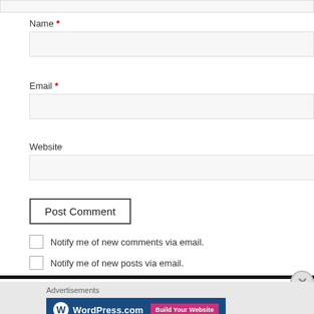Name *
Email *
Website
Post Comment
Notify me of new comments via email.
Notify me of new posts via email.
Advertisements
[Figure (screenshot): WordPress.com advertisement banner with logo and 'Build Your Website' pink button on dark blue background]